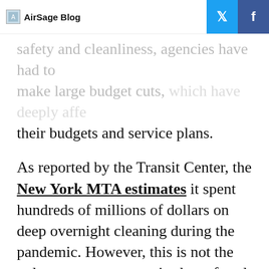AirSage Blog icon  AirSage Blog
safety and cleanliness, agencies have had to make large budget cuts, which have deeply affected their budgets and service plans.
As reported by the Transit Center, the New York MTA estimates it spent hundreds of millions of dollars on deep overnight cleaning during the pandemic. However, this is not the only case; many agencies have faced high costs. Cleaning protocols increased, not just overnight, but even daily service, often between runs. As a result: reduced hours of transit services; allocation of additional time to cleaning staff; including sometimes drivers in the cleaning process.